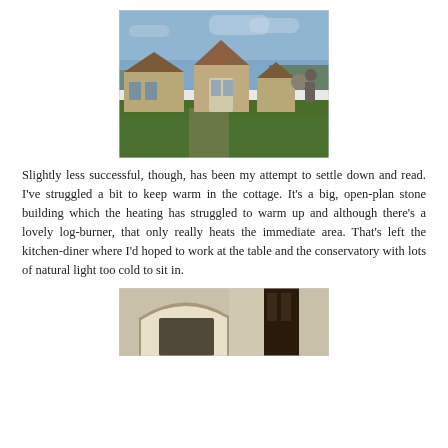[Figure (photo): A row of stone cottage buildings with peaked roofs under a blue sky, with green grass lawn in the foreground and bare trees in the background. Some abstract sculptures visible on the right side.]
Slightly less successful, though, has been my attempt to settle down and read. I've struggled a bit to keep warm in the cottage. It's a big, open-plan stone building which the heating has struggled to warm up and although there's a lovely log-burner, that only really heats the immediate area. That's left the kitchen-diner where I'd hoped to work at the table and the conservatory with lots of natural light too cold to sit in.
[Figure (photo): Partial view of a stone archway or doorway interior, with a dark wooden door visible on the right side, cropped at the bottom of the page.]